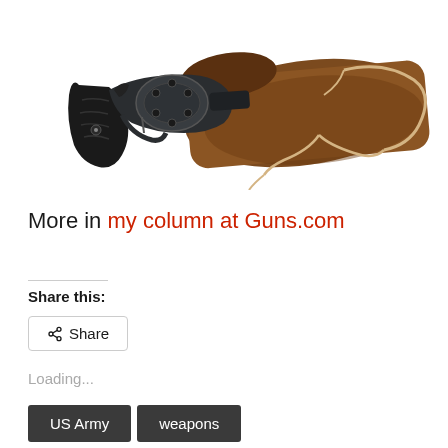[Figure (photo): A vintage revolver handgun resting in and alongside a worn brown leather holster with tan leather lacing/strap, on a white background.]
More in my column at Guns.com
Share this:
Share
Loading...
US Army
weapons